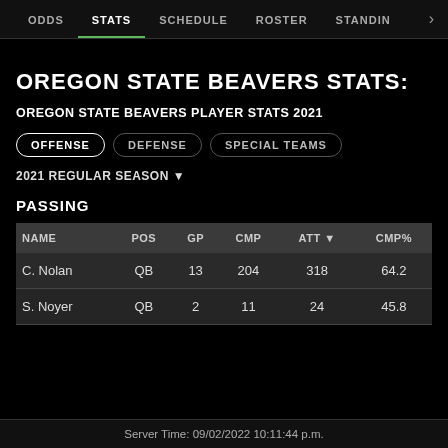ODDS  STATS  SCHEDULE  ROSTER  STANDINGS
OREGON STATE BEAVERS STATS:
OREGON STATE BEAVERS PLAYER STATS 2021
OFFENSE  DEFENSE  SPECIAL TEAMS
2021 REGULAR SEASON ▼
PASSING
| NAME | POS | GP | CMP | ATT ▼ | CMP% |
| --- | --- | --- | --- | --- | --- |
| C. Nolan | QB | 13 | 204 | 318 | 64.2 |
| S. Noyer | QB | 2 | 11 | 24 | 45.8 |
Server Time: 09/02/2022 10:11:44 p.m.